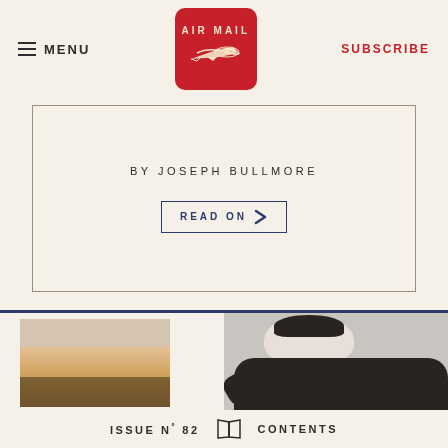MENU | AIR MAIL | SUBSCRIBE
BY JOSEPH BULLMORE
READ ON
[Figure (photo): Left image: warm glowing light photo (partial). Right image: Black and white fashion photo of a model in dark oversized sweater holding a bag.]
ISSUE Nº 82  CONTENTS